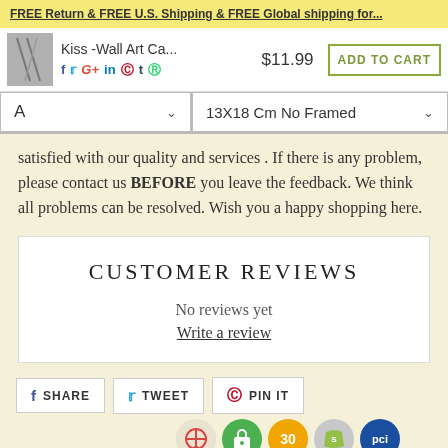FREE Return & FREE U.S. Shipping & FREE Global shipping for...
[Figure (screenshot): Product bar with thumbnail of Kiss Wall Art Canvas, social share icons (Facebook, Twitter, Google+, LinkedIn, Pinterest, Tumblr, WhatsApp), price $11.99, and ADD TO CART button]
[Figure (screenshot): Two dropdown selectors: 'A' on the left and '13X18 Cm No Framed' on the right]
satisfied with our quality and services . If there is any problem, please contact us BEFORE you leave the feedback. We think all problems can be resolved. Wish you a happy shopping here.
CUSTOMER REVIEWS
No reviews yet
Write a review
[Figure (screenshot): Share buttons row: Facebook SHARE, Twitter TWEET, Pinterest PIN IT, and trust badge icons (Google Maps, security lock, 30-day badge, Shopify, PCI)]